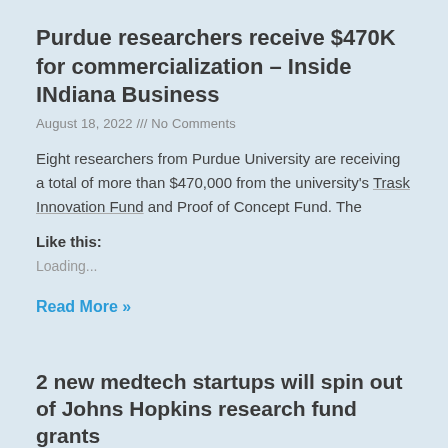Purdue researchers receive $470K for commercialization – Inside INdiana Business
August 18, 2022 /// No Comments
Eight researchers from Purdue University are receiving a total of more than $470,000 from the university's Trask Innovation Fund and Proof of Concept Fund. The
Like this:
Loading...
Read More »
2 new medtech startups will spin out of Johns Hopkins research fund grants
August 18, 2022 /// No Comments